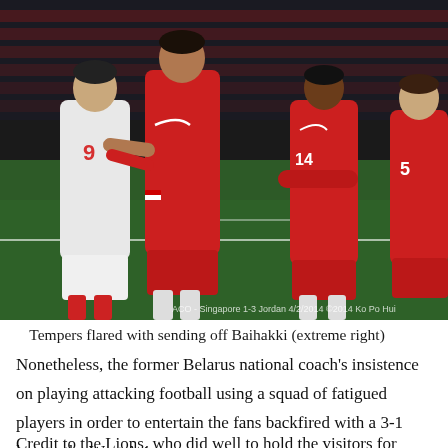[Figure (photo): Football players on a pitch — a player in white jersey (number 9) being confronted or held by a player in red Singapore jersey, with other players in red jerseys (numbers 14 and 5) standing nearby. Photo credit overlay: ACO - Singapore 1-3 Jordan 4/2/2014 ©2014 Ko Po Hui]
Tempers flared with sending off Baihakki (extreme right)
Nonetheless, the former Belarus national coach's insistence on playing attacking football using a squad of fatigued players in order to entertain the fans backfired with a 3-1 loss to the West Asians.
Credit to the Lions, who did well to hold the visitors for